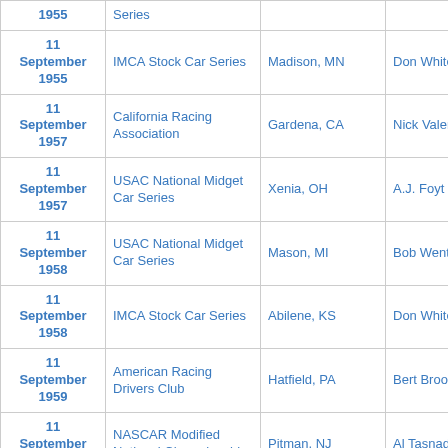| Date | Series | Location | Winner | Laps |
| --- | --- | --- | --- | --- |
| 11 September 1955 | Series |  |  |  |
| 11 September 1955 | IMCA Stock Car Series | Madison, MN | Don White | 20 |
| 11 September 1957 | California Racing Association | Gardena, CA | Nick Valenta |  |
| 11 September 1957 | USAC National Midget Car Series | Xenia, OH | A.J. Foyt |  |
| 11 September 1958 | USAC National Midget Car Series | Mason, MI | Bob Wente |  |
| 11 September 1958 | IMCA Stock Car Series | Abilene, KS | Don White | 50 |
| 11 September 1959 | American Racing Drivers Club | Hatfield, PA | Bert Brooks |  |
| 11 September 1959 | NASCAR Modified National Championship | Pitman, NJ | Al Tasnady |  |
| 11 ... | NASCAR Modified ... |  |  |  |